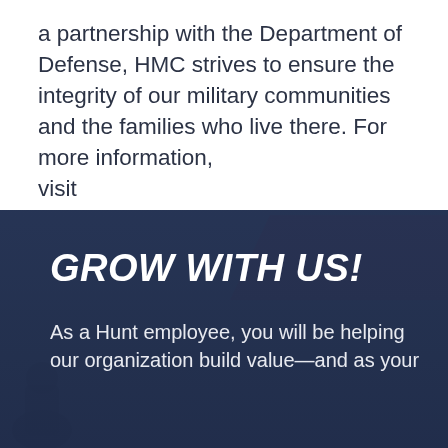a partnership with the Department of Defense, HMC strives to ensure the integrity of our military communities and the families who live there.  For more information, visit www.huntmilitarycommunities.com.
[Figure (photo): Background photo of a military community with dark blue overlay, showing a maroon/dark red roof structure and a person in the lower left corner]
GROW WITH US!
As a Hunt employee, you will be helping our organization build value—and as your